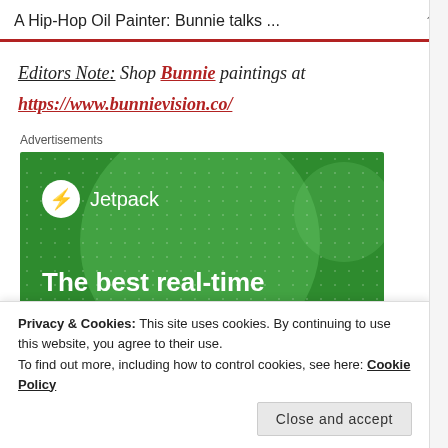A Hip-Hop Oil Painter: Bunnie talks ...
Editors Note: Shop Bunnie paintings at https://www.bunnievision.co/
Advertisements
[Figure (screenshot): Jetpack advertisement banner with green background showing Jetpack logo and text 'The best real-time WordPress backup']
Privacy & Cookies: This site uses cookies. By continuing to use this website, you agree to their use.
To find out more, including how to control cookies, see here: Cookie Policy